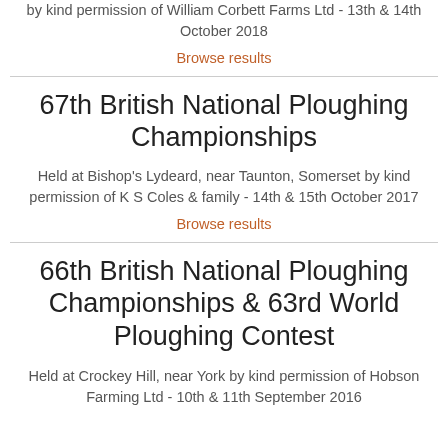by kind permission of William Corbett Farms Ltd - 13th & 14th October 2018
Browse results
67th British National Ploughing Championships
Held at Bishop's Lydeard, near Taunton, Somerset by kind permission of K S Coles & family - 14th & 15th October 2017
Browse results
66th British National Ploughing Championships & 63rd World Ploughing Contest
Held at Crockey Hill, near York by kind permission of Hobson Farming Ltd - 10th & 11th September 2016